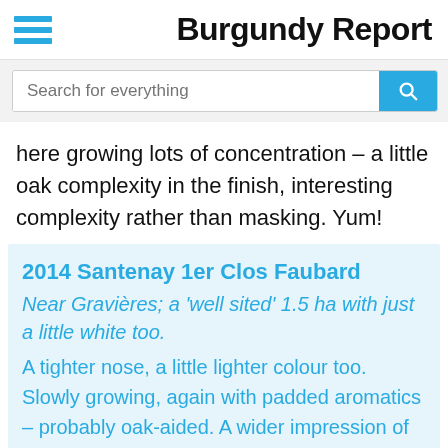Burgundy Report
[Figure (other): Search bar with placeholder text 'Search for everything' and a cyan search button with magnifying glass icon]
here growing lots of concentration – a little oak complexity in the finish, interesting complexity rather than masking. Yum!
2014 Santenay 1er Clos Faubard
Near Gravières; a 'well sited' 1.5 ha with just a little white too.
A tighter nose, a little lighter colour too. Slowly growing, again with padded aromatics – probably oak-aided. A wider impression of flavour on the palate, delivering intensity but more of a width than a wines. A fine mouth-watering finish.
Translate »